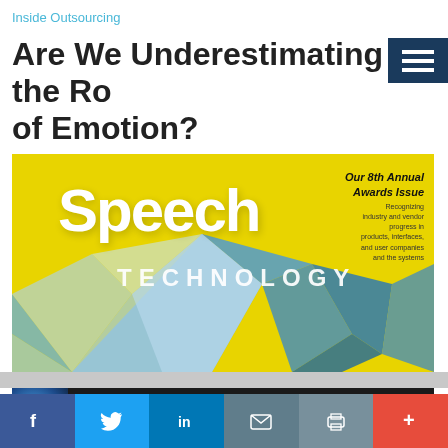Inside Outsourcing
Are We Underestimating the Role of Emotion?
[Figure (photo): Cover of Speech Technology magazine showing large white 'Speech' text and 'TECHNOLOGY' subtitle on a yellow background with a geometric 3D shape composed of blue triangular facets. Top-right corner shows text about '8th Annual Awards Issue' and recognizing companies and products.]
[Figure (photo): Advertisement banner with dark background showing a glowing brain image on the left, text 'This is where AI and machine learning come alive!' in the center, and the Speech Technology magazine logo on the right.]
[Figure (infographic): Social sharing bar with Facebook, Twitter, LinkedIn, email, print, and plus (+) buttons in respective brand colors.]